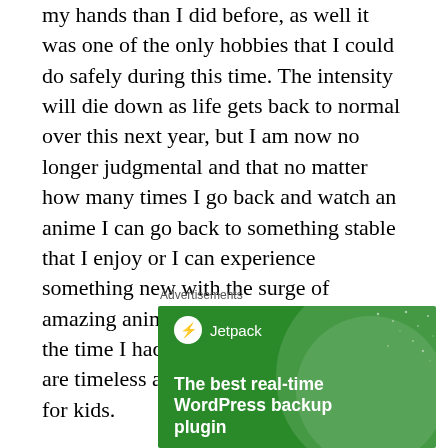my hands than I did before, as well it was one of the only hobbies that I could do safely during this time. The intensity will die down as life gets back to normal over this next year, but I am now no longer judgmental and that no matter how many times I go back and watch an anime I can go back to something stable that I enjoy or I can experience something new with the surge of amazing anime that have come out over the time I had been gone. Stories and art are timeless and cartoons are NOT just for kids.
Advertisements
[Figure (illustration): Jetpack WordPress plugin advertisement banner. Green background with circle shapes and star dots. Jetpack logo and name at top left. Text: 'The best real-time WordPress backup plugin']